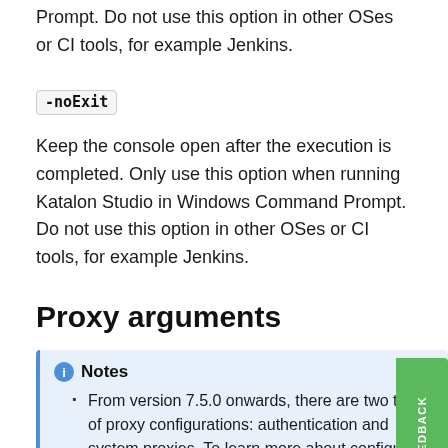Prompt. Do not use this option in other OSes or CI tools, for example Jenkins.
-noExit
Keep the console open after the execution is completed. Only use this option when running Katalon Studio in Windows Command Prompt. Do not use this option in other OSes or CI tools, for example Jenkins.
Proxy arguments
Notes
From version 7.5.0 onwards, there are two types of proxy configurations: authentication and system proxies. To learn more about configuring different proxy preferences, you can refer to this